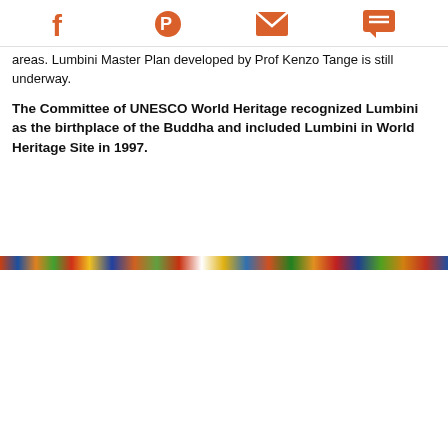[Social sharing icons: Facebook, Pinterest, Email, Chat]
areas. Lumbini Master Plan developed by Prof Kenzo Tange is still underway.
The Committee of UNESCO World Heritage recognized Lumbini as the birthplace of the Buddha and included Lumbini in World Heritage Site in 1997.
[Figure (photo): A horizontal strip of colorful crowd/decorations image]